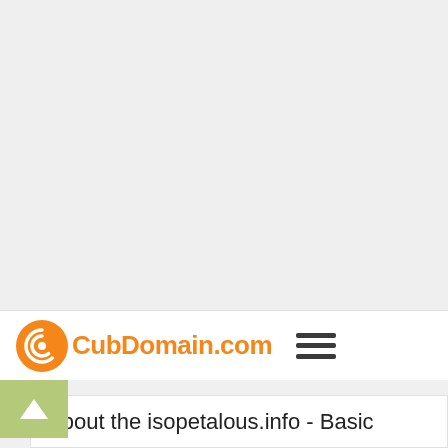[Figure (screenshot): Gray background area representing a webpage screenshot top section]
[Figure (logo): CubDomain.com logo with orange spiral icon and orange text, followed by a hamburger menu icon]
About the isopetalous.info - Basic